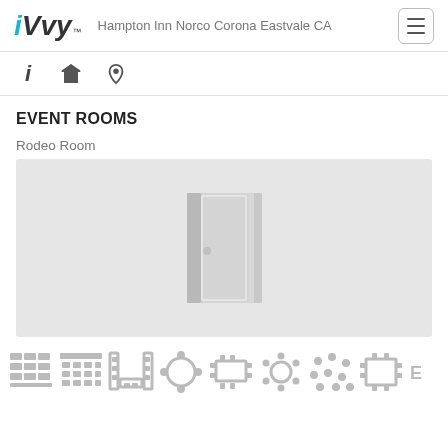iVvy™ Hampton Inn Norco Corona Eastvale CA
EVENT ROOMS
Rodeo Room
[Figure (illustration): Gray placeholder image area with a door icon in the center, representing an event room photo placeholder]
[Figure (infographic): Row of seating arrangement icons at the bottom: classroom, theater, U-shape, round table, boardroom, banquet round, cocktail/reception, hollow square, and more]